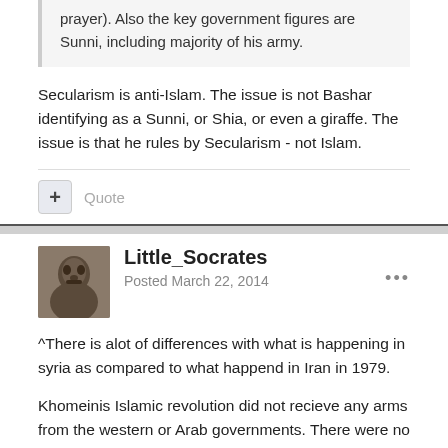prayer). Also the key government figures are Sunni, including majority of his army.
Secularism is anti-Islam. The issue is not Bashar identifying as a Sunni, or Shia, or even a giraffe. The issue is that he rules by Secularism - not Islam.
Little_Socrates
Posted March 22, 2014
^There is alot of differences with what is happening in syria as compared to what happend in Iran in 1979.
Khomeinis Islamic revolution did not recieve any arms from the western or Arab governments. There were no militants crossing borders of